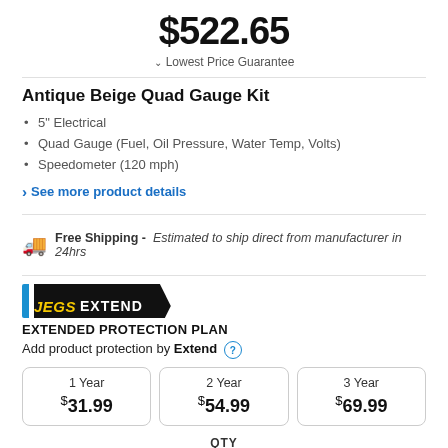$522.65
Lowest Price Guarantee
Antique Beige Quad Gauge Kit
5" Electrical
Quad Gauge (Fuel, Oil Pressure, Water Temp, Volts)
Speedometer (120 mph)
See more product details
Free Shipping - Estimated to ship direct from manufacturer in 24hrs
[Figure (logo): JEGS EXTEND logo - black banner with blue bar, yellow JEGS text and white EXTEND text]
EXTENDED PROTECTION PLAN
Add product protection by Extend
| 1 Year | 2 Year | 3 Year |
| --- | --- | --- |
| $31.99 | $54.99 | $69.99 |
QTY
1